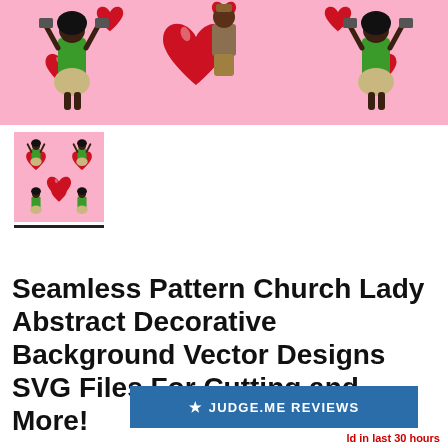[Figure (illustration): Hero banner showing a seamless pattern with church ladies in green dresses holding tablets with arms raised, surrounded by large red hearts on a pink background]
[Figure (illustration): Small thumbnail preview of the seamless pattern showing church ladies and red hearts on pink background, with a black underline below it]
Seamless Pattern Church Lady Abstract Decorative Background Vector Designs SVG Files For Cutting and More!
[Figure (screenshot): Blue Judge.me Reviews button bar with star icon]
ld in last 30 hours